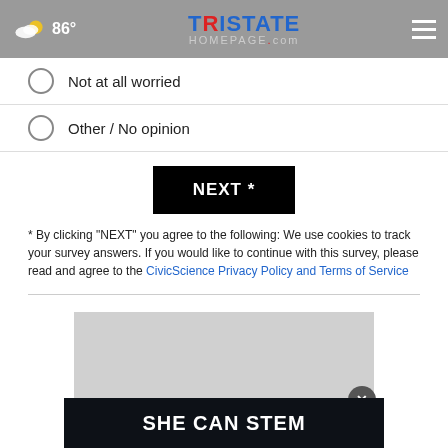86° Tristate Homepage.com
Not at all worried
Other / No opinion
NEXT *
* By clicking "NEXT" you agree to the following: We use cookies to track your survey answers. If you would like to continue with this survey, please read and agree to the CivicScience Privacy Policy and Terms of Service
[Figure (other): Grey advertisement placeholder rectangle with close button]
[Figure (other): SHE CAN STEM dark banner advertisement]